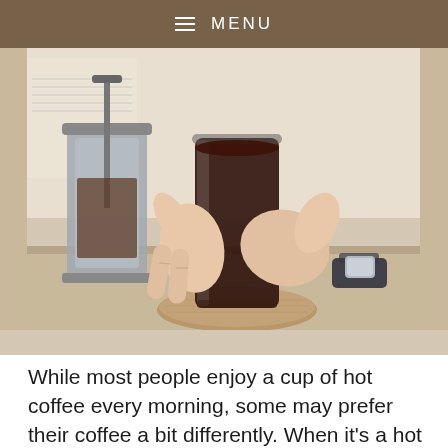≡ MENU
[Figure (photo): Hands holding a glass of dark iced coffee placed on a round cork coaster, with a French press coffee maker in the background on a light surface.]
While most people enjoy a cup of hot coffee every morning, some may prefer their coffee a bit differently. When it's a hot summer in the middle of the day, you might still want the